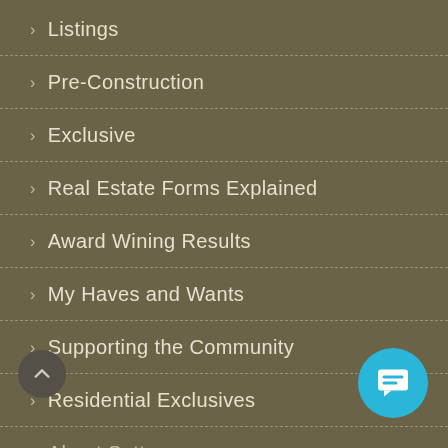› Listings
› Pre-Construction
› Exclusive
› Real Estate Forms Explained
› Award Wining Results
› My Haves and Wants
› Supporting the Community
› Residential Exclusives
› About Sutton Group